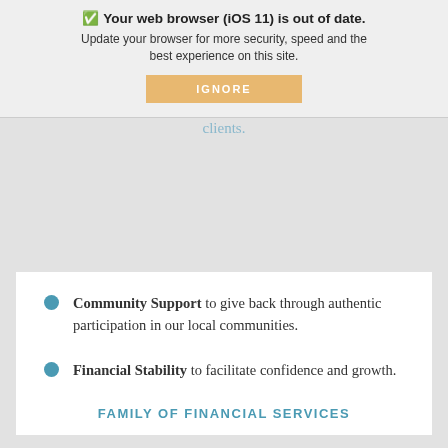[Figure (screenshot): Browser update warning overlay: 'Your web browser (iOS 11) is out of date. Update your browser for more security, speed and the best experience on this site.' with an IGNORE button.]
Pride that drives us to Continually and higher on behalf of our clients.
Community Support to give back through authentic participation in our local communities.
Financial Stability to facilitate confidence and growth.
FAMILY OF FINANCIAL SERVICES